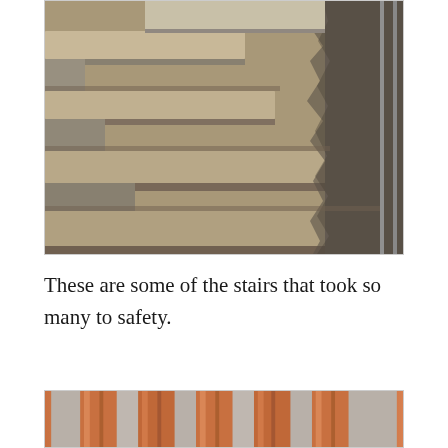[Figure (photo): Photograph of concrete/granite stairs showing worn and damaged edges, with crumbled material visible along the right side. The stairs appear old and deteriorated.]
These are some of the stairs that took so many to safety.
[Figure (photo): Partial photograph showing what appears to be wooden architectural elements or columns, with reddish-brown wood tones against a grey stone background.]